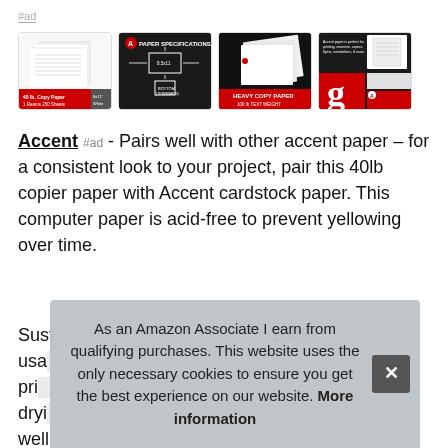#ad
[Figure (photo): Four product thumbnail images of Accent copy paper: (1) white paper stack with red label '40 lb. Copy Paper 1 Reams 250 Sheets', (2) black background with paper specifications diagram, (3) white paper on dark background with 'HEAVY COPY PAPER 100 lb TEXT WEIGHT' text in red, (4) black/red grid layout with 'g' logo and document.]
Accent #ad - Pairs well with other accent paper – for a consistent look to your project, pair this 40lb copier paper with Accent cardstock paper. This computer paper is acid-free to prevent yellowing over time.
Sust...100%...usa...pri...dryi...well
As an Amazon Associate I earn from qualifying purchases. This website uses the only necessary cookies to ensure you get the best experience on our website. More information